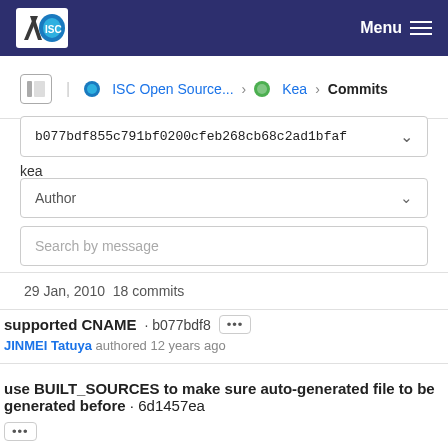ISC Menu
ISC Open Source... > Kea > Commits
b077bdf855c791bf0200cfeb268cb68c2ad1bfaf
kea
Author
Search by message
29 Jan, 2010 18 commits
supported CNAME · b077bdf8 [...] JINMEI Tatuya authored 12 years ago
use BUILT_SOURCES to make sure auto-generated file to be generated before · 6d1457ea [...] JINMEI Tatuya authored 12 years ago